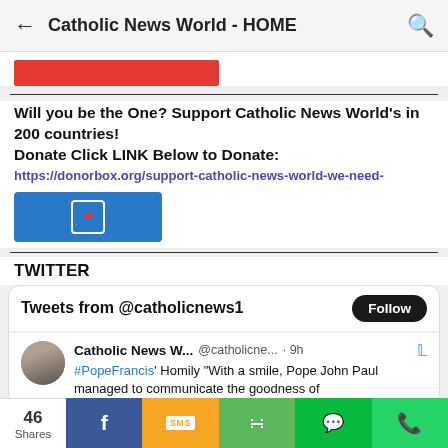Catholic News World - HOME
[Figure (screenshot): Partial red banner/button at top of page content]
Will you be the One? Support Catholic News World's in 200 countries!
Donate Click LINK Below to Donate:
https://donorbox.org/support-catholic-news-world-we-need-
[Figure (screenshot): Blue donate button with bracket-heart icon]
TWITTER
[Figure (screenshot): Twitter widget showing Tweets from @catholicnews1 with Follow button and a tweet from Catholic News W... @catholicne... 9h: #PopeFrancis' Homily "With a smile, Pope John Paul managed to communicate the goodness of]
46 Shares | Facebook | SMS | Share | WeChat | WhatsApp